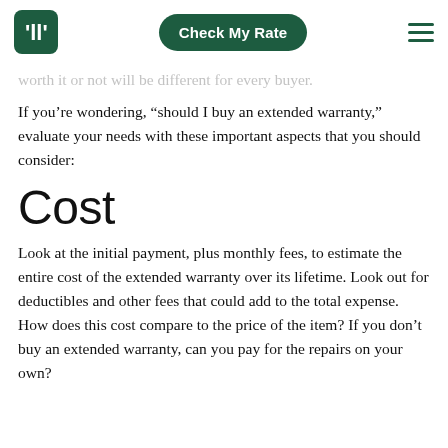Check My Rate
worth it or not will be different for every buyer.
If you’re wondering, “should I buy an extended warranty,” evaluate your needs with these important aspects that you should consider:
Cost
Look at the initial payment, plus monthly fees, to estimate the entire cost of the extended warranty over its lifetime. Look out for deductibles and other fees that could add to the total expense. How does this cost compare to the price of the item? If you don’t buy an extended warranty, can you pay for the repairs on your own?